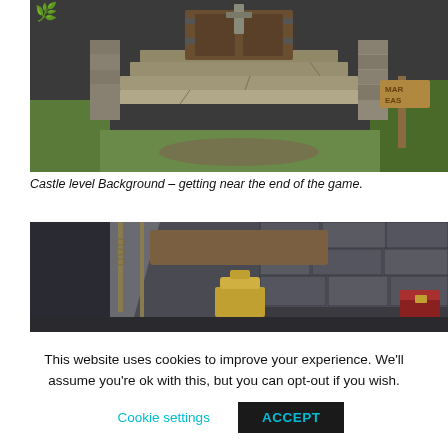[Figure (illustration): Castle level background game art showing stone steps leading to a wooden door, with grass and a signpost visible. Fantasy RPG dungeon/castle entrance scene.]
Castle level Background – getting near the end of the game.
[Figure (illustration): Dungeon interior background game art showing stone walls, chains, a golden chalice/altar, and a chest. Dark dungeon scene with dramatic lighting.]
This website uses cookies to improve your experience. We'll assume you're ok with this, but you can opt-out if you wish.